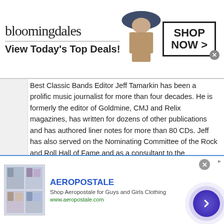[Figure (screenshot): Bloomingdale's advertisement banner with logo, fashion model wearing hat, and 'SHOP NOW >' button. Text reads 'bloomingdales' and 'View Today's Top Deals!']
Best Classic Bands Editor Jeff Tamarkin has been a prolific music journalist for more than four decades. He is formerly the editor of Goldmine, CMJ and Relix magazines, has written for dozens of other publications and has authored liner notes for more than 80 CDs. Jeff has also served on the Nominating Committee of the Rock and Roll Hall of Fame and as a consultant to the Grammys. His first book was 'Got a Revolution! The Turbulent Flight of Jefferson Airplane.' He is also the co-author of 'Shell Shocked: My Life with the Turtles, Flo and Eddie, and Frank Zappa, etc.,' with Howard Kaylan.
[Figure (screenshot): Aeropostale advertisement banner with store image thumbnail, brand name 'AEROPOSTALE', tagline 'Shop Aeropostale for Guys and Girls Clothing', URL 'www.aeropostale.com', close button, and forward arrow navigation button.]